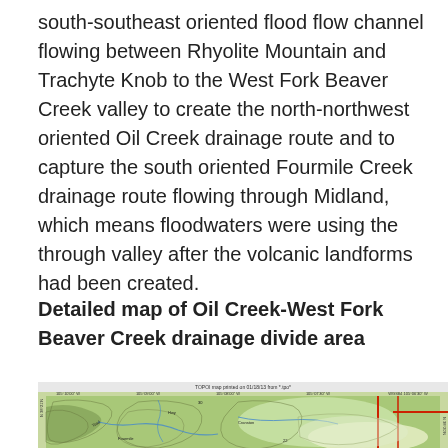south-southeast oriented flood flow channel flowing between Rhyolite Mountain and Trachyte Knob to the West Fork Beaver Creek valley to create the north-northwest oriented Oil Creek drainage route and to capture the south oriented Fourmile Creek drainage route flowing through Midland, which means floodwaters were using the through valley after the volcanic landforms had been created.
Detailed map of Oil Creek-West Fork Beaver Creek drainage divide area
[Figure (map): Topographic map showing Oil Creek-West Fork Beaver Creek drainage divide area with contour lines, terrain features, and grid coordinates. TOPOI map printed on 01/18/13.]